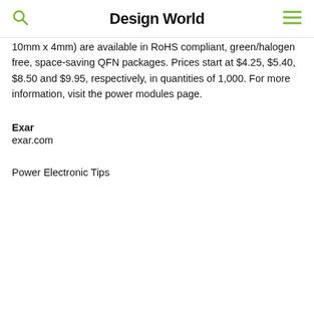Design World
10mm x 4mm) are available in RoHS compliant, green/halogen free, space-saving QFN packages. Prices start at $4.25, $5.40, $8.50 and $9.95, respectively, in quantities of 1,000. For more information, visit the power modules page.
Exar
exar.com
Power Electronic Tips